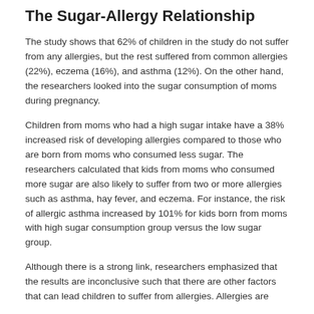The Sugar-Allergy Relationship
The study shows that 62% of children in the study do not suffer from any allergies, but the rest suffered from common allergies (22%), eczema (16%), and asthma (12%). On the other hand, the researchers looked into the sugar consumption of moms during pregnancy.
Children from moms who had a high sugar intake have a 38% increased risk of developing allergies compared to those who are born from moms who consumed less sugar. The researchers calculated that kids from moms who consumed more sugar are also likely to suffer from two or more allergies such as asthma, hay fever, and eczema. For instance, the risk of allergic asthma increased by 101% for kids born from moms with high sugar consumption group versus the low sugar group.
Although there is a strong link, researchers emphasized that the results are inconclusive such that there are other factors that can lead children to suffer from allergies. Allergies are